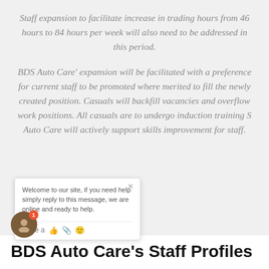Staff expansion to facilitate increase in trading hours from 46 hours to 84 hours per week will also need to be addressed in this period.
BDS Auto Care' expansion will be facilitated with a preference for current staff to be promoted where merited to fill the newly created position. Casuals will backfill vacancies and overflow work positions. All casuals are to undergo induction training S Auto Care will actively support skills improvement for staff.
BDS Auto Care's Staff Profiles